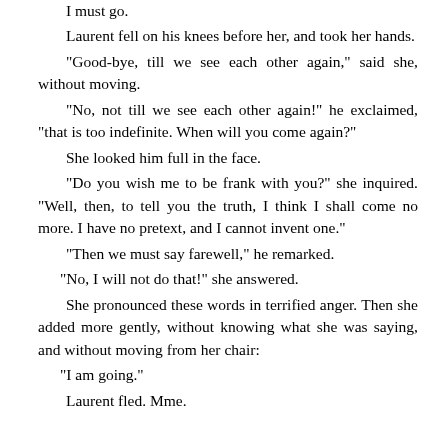I must go.
Laurent fell on his knees before her, and took her hands.
“Good-bye, till we see each other again,” said she, without moving.
“No, not till we see each other again!” he exclaimed, “that is too indefinite. When will you come again?”
She looked him full in the face.
“Do you wish me to be frank with you?” she inquired. “Well, then, to tell you the truth, I think I shall come no more. I have no pretext, and I cannot invent one.”
“Then we must say farewell,” he remarked.
“No, I will not do that!” she answered.
She pronounced these words in terrified anger. Then she added more gently, without knowing what she was saying, and without moving from her chair:
“I am going.”
Laurent fled. Mme.childlike fear